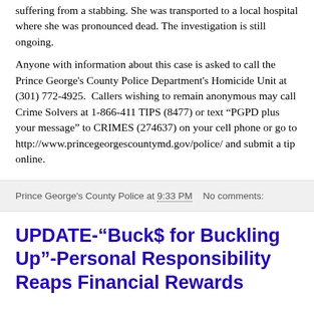suffering from a stabbing. She was transported to a local hospital where she was pronounced dead. The investigation is still ongoing.
Anyone with information about this case is asked to call the Prince George's County Police Department's Homicide Unit at (301) 772-4925. Callers wishing to remain anonymous may call Crime Solvers at 1-866-411 TIPS (8477) or text “PGPD plus your message” to CRIMES (274637) on your cell phone or go to http://www.princegeorgescountymd.gov/police/ and submit a tip online.
Prince George's County Police at 9:33 PM   No comments:
UPDATE-“Buck$ for Buckling Up”-Personal Responsibility Reaps Financial Rewards